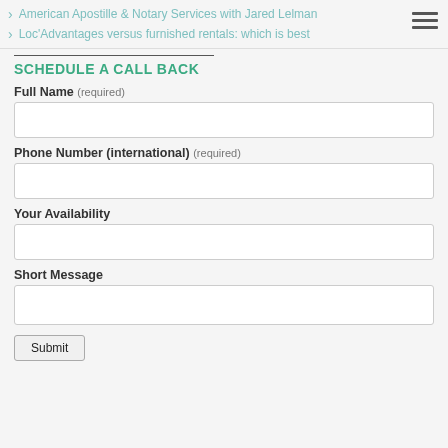American Apostille & Notary Services with Jared Lelman
Loc'Advantages versus furnished rentals: which is best
SCHEDULE A CALL BACK
Full Name (required)
Phone Number (international) (required)
Your Availability
Short Message
Submit